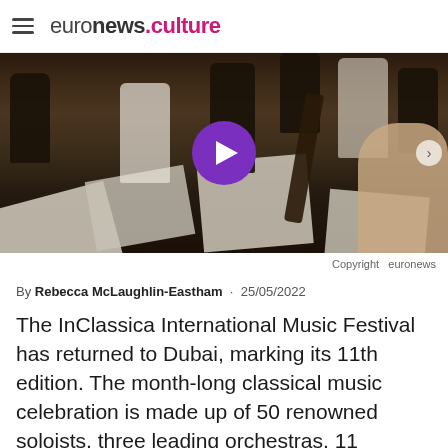euronews.culture
[Figure (photo): Orchestra musicians rehearsing on stage, viewed from behind, with music stands and sheet music visible. A large purple play button overlay is centered on the image.]
Copyright  euronews
By Rebecca McLaughlin-Eastham  ·  25/05/2022
The InClassica International Music Festival has returned to Dubai, marking its 11th edition. The month-long classical music celebration is made up of 50 renowned soloists, three leading orchestras, 11 conductors and 26 performances at Dubai Opera.